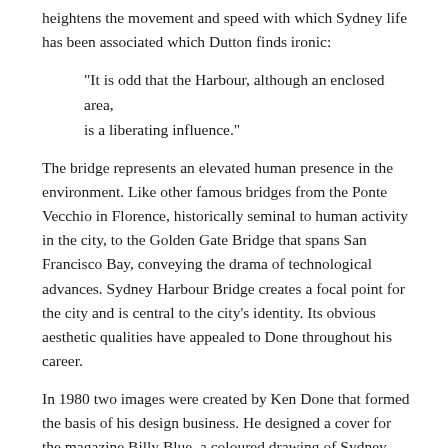heightens the movement and speed with which Sydney life has been associated which Dutton finds ironic:
"It is odd that the Harbour, although an enclosed area, is a liberating influence."
The bridge represents an elevated human presence in the environment. Like other famous bridges from the Ponte Vecchio in Florence, historically seminal to human activity in the city, to the Golden Gate Bridge that spans San Francisco Bay, conveying the drama of technological advances. Sydney Harbour Bridge creates a focal point for the city and is central to the city's identity. Its obvious aesthetic qualities have appealed to Done throughout his career.
In 1980 two images were created by Ken Done that formed the basis of his design business. He designed a cover for the magazine Billy Blue, a coloured drawing of Sydney Harbour. In 1980 Ken Done held his first solo exhibition at the Holdsworth